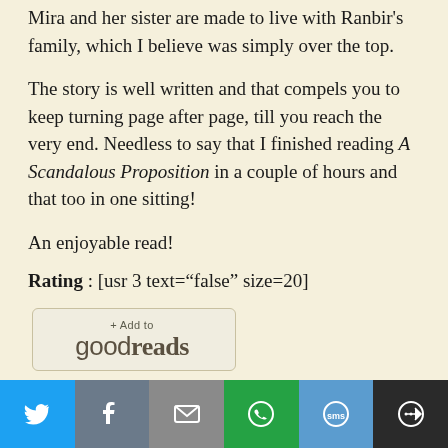Mira and her sister are made to live with Ranbir's family, which I believe was simply over the top.
The story is well written and that compels you to keep turning page after page, till you reach the very end. Needless to say that I finished reading A Scandalous Proposition in a couple of hours and that too in one sitting!
An enjoyable read!
Rating : [usr 3 text="false" size=20]
[Figure (other): Goodreads '+Add to goodreads' button]
Linking this to July 2014 Ultimate Blogging Challenge and NaBloPoMo
[Figure (other): Social sharing bar with Twitter, Facebook, Email, WhatsApp, SMS, and More buttons]